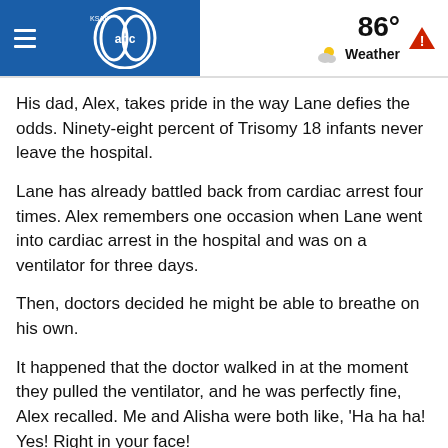KSAT abc | 86° Weather
His dad, Alex, takes pride in the way Lane defies the odds. Ninety-eight percent of Trisomy 18 infants never leave the hospital.
Lane has already battled back from cardiac arrest four times. Alex remembers one occasion when Lane went into cardiac arrest in the hospital and was on a ventilator for three days.
Then, doctors decided he might be able to breathe on his own.
It happened that the doctor walked in at the moment they pulled the ventilator, and he was perfectly fine, Alex recalled. Me and Alisha were both like, 'Ha ha ha! Yes! Right in your face!
The Haubers are still fighting for their son. Trisomy 18 survivors have to overcome several other associated health issues involving the heart and lungs.